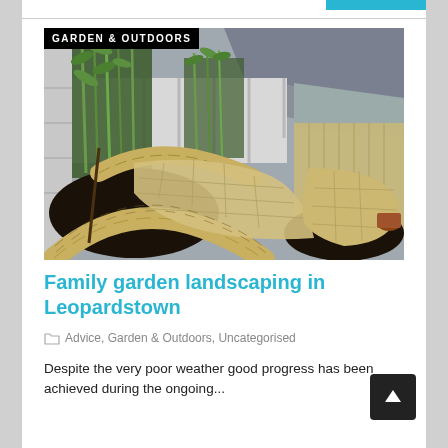[Figure (photo): Garden landscaping photo showing a curved stone-walled patio with sandstone paving, dark soil planting beds, bamboo and tall grasses along a white fence, and a timber garden shed in the background. A black label overlay reads 'GARDEN & OUTDOORS'.]
Family garden landscaping in Leopardstown
Advice, Garden & Outdoors, Uncategorised
Despite the very poor weather good progress has been achieved during the ongoing...